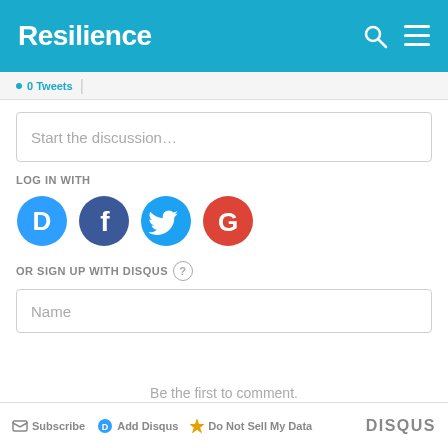Resilience
Start the discussion...
LOG IN WITH
[Figure (illustration): Social login icons: Disqus (blue speech bubble with D), Facebook (dark purple circle with f), Twitter (light blue circle with bird), Google (red circle with G)]
OR SIGN UP WITH DISQUS ?
Name
Be the first to comment.
Subscribe  Add Disqus  Do Not Sell My Data  DISQUS